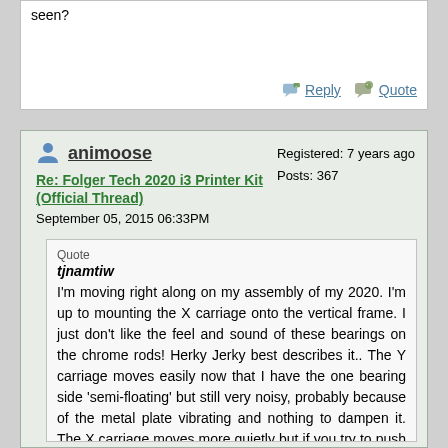seen?
Reply  Quote
animoose
Re: Folger Tech 2020 i3 Printer Kit (Official Thread)
September 05, 2015 06:33PM
Registered: 7 years ago
Posts: 367
Quote
tjnamtiw
I'm moving right along on my assembly of my 2020. I'm up to mounting the X carriage onto the vertical frame. I just don't like the feel and sound of these bearings on the chrome rods! Herky Jerky best describes it.. The Y carriage moves easily now that I have the one bearing side 'semi-floating' but still very noisy, probably because of the metal plate vibrating and nothing to dampen it. The X carriage moves more quietly but if you try to push it lightly, it resists a little and then jerks one ball over (thinking of the bearings). I'm seriously considering taking the bearings back off and enlarging the semi-circles that the bearing fit into to allow them to float slightly also. I was disappointed that the width of the openings for the bearings were no where near the length of the bearings. Some time with my Dremel provided relief for them. Using printed parts for such precision alignment is questionable but then again, if